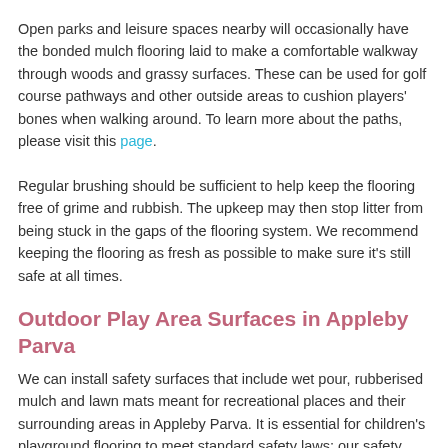Open parks and leisure spaces nearby will occasionally have the bonded mulch flooring laid to make a comfortable walkway through woods and grassy surfaces. These can be used for golf course pathways and other outside areas to cushion players' bones when walking around. To learn more about the paths, please visit this page.
Regular brushing should be sufficient to help keep the flooring free of grime and rubbish. The upkeep may then stop litter from being stuck in the gaps of the flooring system. We recommend keeping the flooring as fresh as possible to make sure it's still safe at all times.
Outdoor Play Area Surfaces in Appleby Parva
We can install safety surfaces that include wet pour, rubberised mulch and lawn mats meant for recreational places and their surrounding areas in Appleby Parva. It is essential for children's playground flooring to meet standard safety laws; our safety floors see these types of specifications, such as the Critical Fall Height specification.